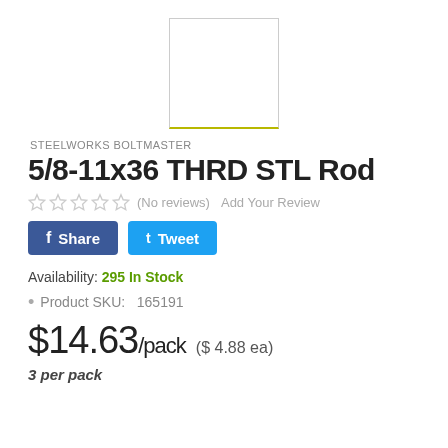[Figure (photo): Product image placeholder — white box with olive/yellow-green bottom border]
STEELWORKS BOLTMASTER
5/8-11x36 THRD STL Rod
☆☆☆☆☆ (No reviews)  Add Your Review
f Share   t Tweet
Availability: 295 In Stock
Product SKU:   165191
$14.63/pack  ($ 4.88 ea)
3 per pack